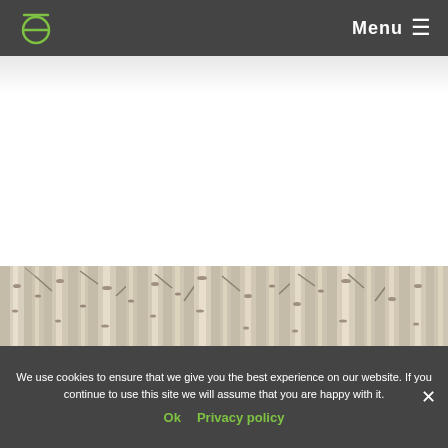Menu ☰
[Figure (illustration): Light grey/white blank area below header, representing empty page content area with subtle gradient at top]
[Figure (photo): Horizontal band showing birch/aspen tree trunks in black and white/sepia tones, densely packed forest]
We use cookies to ensure that we give you the best experience on our website. If you continue to use this site we will assume that you are happy with it.
Ok  Privacy policy